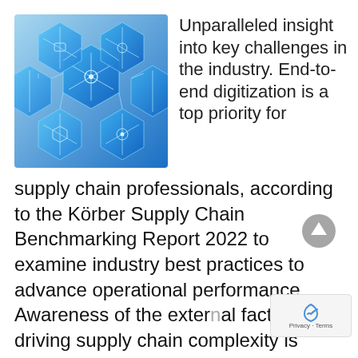[Figure (illustration): Blue hexagonal network/circuit pattern illustration representing digital supply chain connectivity]
Unparalleled insight into key challenges in the industry. End-to-end digitization is a top priority for supply chain professionals, according to the Körber Supply Chain Benchmarking Report 2022 to examine industry best practices to advance operational performance. Awareness of the external factors driving supply chain complexity is